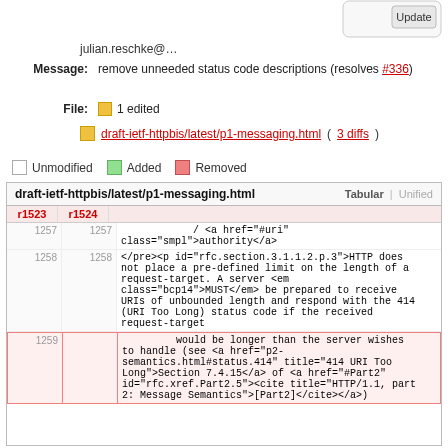[Figure (screenshot): Update button in top right corner of a web UI]
julian.reschke@…
Message: remove unneeded status code descriptions (resolves #336)
File: 1 edited
draft-ietf-httpbis/latest/p1-messaging.html (3 diffs)
Unmodified   Added   Removed
| r1523 | r1524 | draft-ietf-httpbis/latest/p1-messaging.html |
| --- | --- | --- |
| 1257 | 1257 | / <a href="#uri" class="smpl">authority</a> |
| 1258 | 1258 | </pre><p id="rfc.section.3.1.1.2.p.3">HTTP does not place a pre-defined limit on the length of a request-target. A server <em class="bcp14">MUST</em> be prepared to receive URIs of unbounded length and respond with the 414 (URI Too Long) status code if the received request-target |
| 1259 |  | would be longer than the server wishes to handle (see <a href="p2-semantics.html#status.414" title="414 URI Too Long">Section 7.4.15</a> of <a href="#Part2" id="rfc.xref.Part2.5"><cite title="HTTP/1.1, part 2: Message Semantics">[Part2]</cite></a>) |